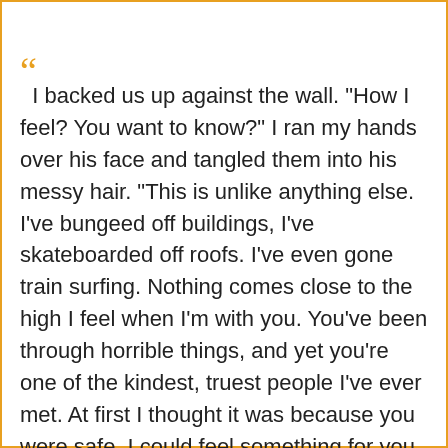“ I backed us up against the wall. "How I feel? You want to know?" I ran my hands over his face and tangled them into his messy hair. "This is unlike anything else. I've bungeed off buildings, I've skateboarded off roofs. I've even gone train surfing. Nothing comes close to the high I feel when I'm with you. You've been through horrible things, and yet you're one of the kindest, truest people I've ever met. At first I thought it was because you were safe. I could feel something for you because you couldn't hurt me. Not the way Alex did. But it's more than that. It's you. Who you are. The way you are. Everything from your smile to the way you always say exactly what's on your mind. Your soul, Kale. ”